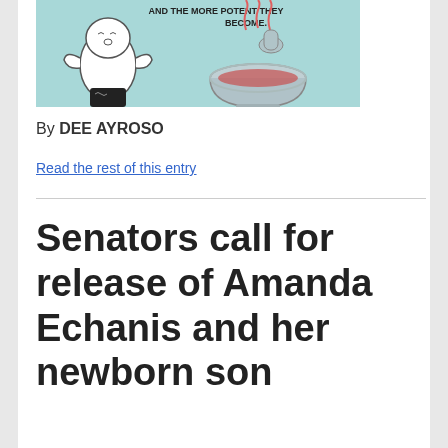[Figure (illustration): Cartoon illustration showing a ghost-like figure in black and white on the left, and a mortar and pestle with red steam on the right, with text at the top reading 'AND THE MORE POTENT THEY BECOME.' on a light blue background.]
By DEE AYROSO
Read the rest of this entry
Senators call for release of Amanda Echanis and her newborn son